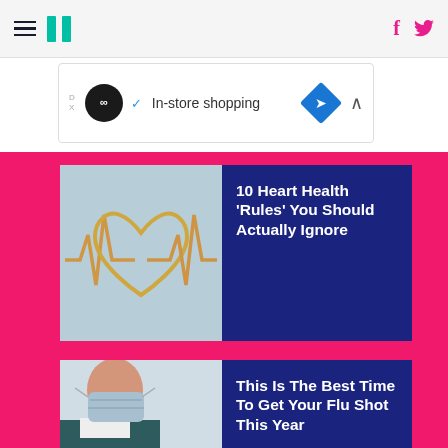HuffPost navigation bar with hamburger menu, logo, Facebook and Twitter icons
[Figure (screenshot): Ad banner: infinity logo, checkmark, 'In-store shopping', blue diamond arrow icon]
[Figure (photo): Heart health article card with image of heart-shaped EKG wire sculpture on blue background]
10 Heart Health 'Rules' You Should Actually Ignore
[Figure (photo): Flu shot article card with image of person receiving injection while wearing mask]
This Is The Best Time To Get Your Flu Shot This Year